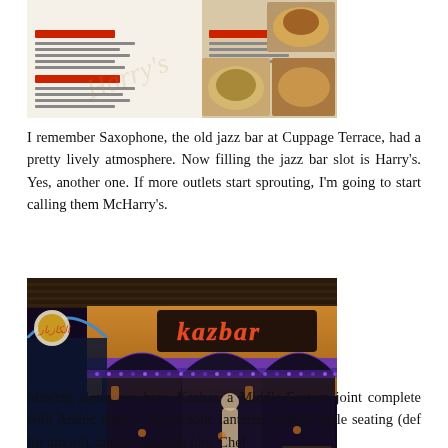[Figure (photo): Photo of a restaurant menu spread open on a table, showing sections including 'Harry's Favourites', 'Gourmet Burgers', and 'Bar Snacks' with food photos visible on the right side.]
I remember Saxophone, the old jazz bar at Cuppage Terrace, had a pretty lively atmosphere. Now filling the jazz bar slot is Harry's. Yes, another one. If more outlets start sprouting, I'm going to start calling them McHarry's.
[Figure (photo): Interior photo of Kazbar, a Middle-Eastern themed restaurant/bar with Moorish arches, decorative tilework lit in blue/purple, a prominent 'kazbar' sign in stylized lettering, and dim ambient lighting with visible seating.]
Moving along, we have Kazbar, a Middle-Eastern joint complete with Arabic mosaic tiles, exotic lanterns, daybed style seating (def for amore), and his and heh lots. Chef